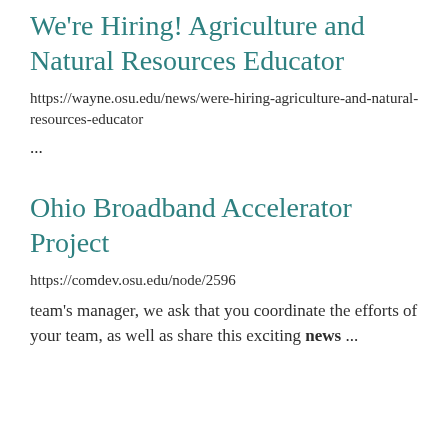We're Hiring! Agriculture and Natural Resources Educator
https://wayne.osu.edu/news/were-hiring-agriculture-and-natural-resources-educator
...
Ohio Broadband Accelerator Project
https://comdev.osu.edu/node/2596
team’s manager, we ask that you coordinate the efforts of your team, as well as share this exciting news ...